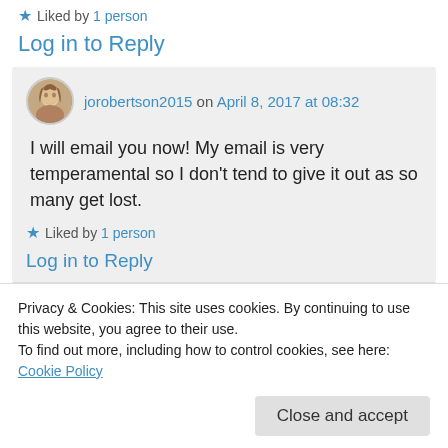★ Liked by 1 person
Log in to Reply
jorobertson2015 on April 8, 2017 at 08:32
I will email you now! My email is very temperamental so I don't tend to give it out as so many get lost.
★ Liked by 1 person
Log in to Reply
Privacy & Cookies: This site uses cookies. By continuing to use this website, you agree to their use.
To find out more, including how to control cookies, see here: Cookie Policy
Close and accept
No worries!